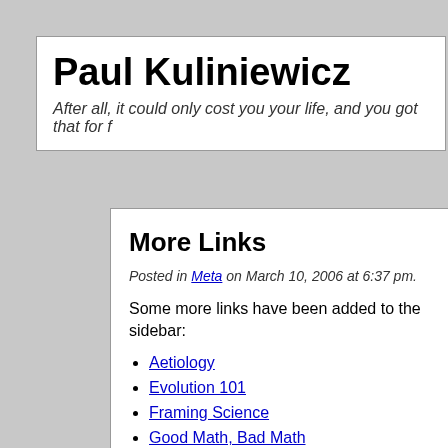Paul Kuliniewicz
After all, it could only cost you your life, and you got that for f
More Links
Posted in Meta on March 10, 2006 at 6:37 pm.
Some more links have been added to the sidebar:
Aetiology
Evolution 101
Framing Science
Good Math, Bad Math
Planet Debian
Planet GNOME
Planet SELinux
Respectful Insolence
Also, note that there's now a link to the RSS feed for comm